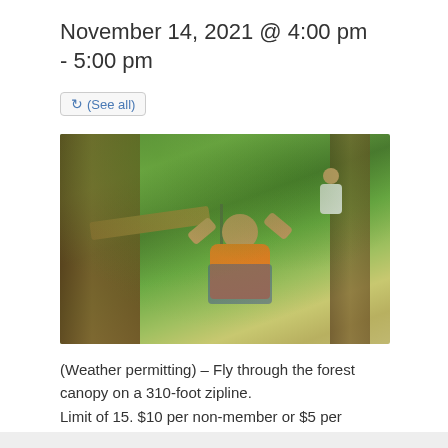November 14, 2021 @ 4:00 pm - 5:00 pm
↻ (See all)
[Figure (photo): Person in an orange shirt smiling and holding a zipline cable handle high in a forest canopy. Another person is visible on a platform in the background among tall trees.]
(Weather permitting) – Fly through the forest canopy on a 310-foot zipline.
Limit of 15. $10 per non-member or $5 per member. Tickets are available the day of the program in the Nature Center.
* No Zipline if rain, thunderstorms, or lightning is present.